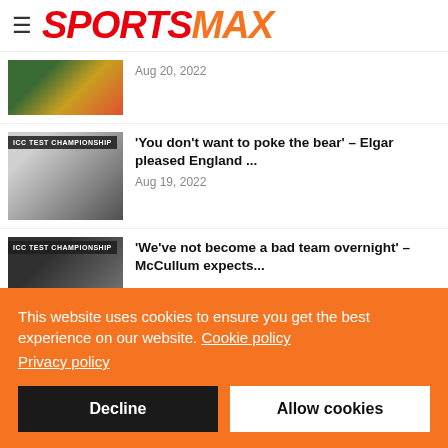SPORTSMAX
Aug 20, 2022
'You don't want to poke the bear' – Elgar pleased England ...
Aug 19, 2022
'We've not become a bad team overnight' – McCullum expects...
This website uses cookies to ensure you get the best experience on our website. Cookie policy
Privacy policy